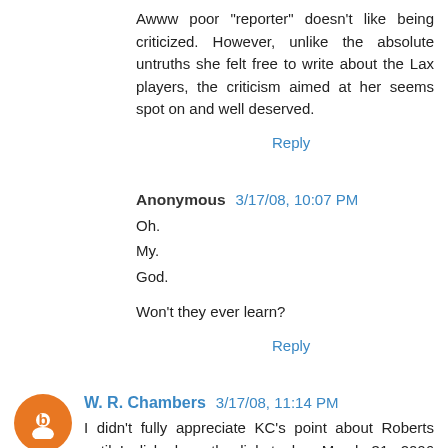Awww poor "reporter" doesn't like being criticized. However, unlike the absolute untruths she felt free to write about the Lax players, the criticism aimed at her seems spot on and well deserved.
Reply
Anonymous 3/17/08, 10:07 PM
Oh.
My.
God.
Won't they ever learn?
Reply
W. R. Chambers 3/17/08, 11:14 PM
I didn't fully appreciate KC's point about Roberts until I clicked on the link to her March 31, 2006 article. I feel embarrassed for her. I think she's a better reporter than that. In fact, for the March 31 article, she wasn't acting like